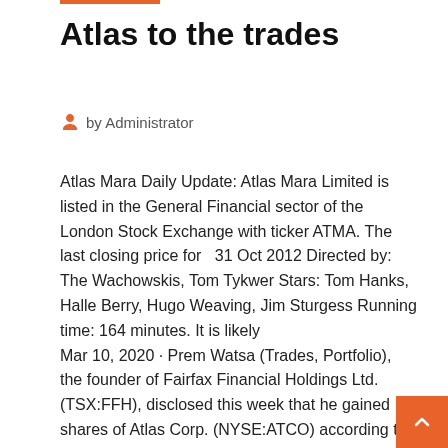Atlas to the trades
by Administrator
Atlas Mara Daily Update: Atlas Mara Limited is listed in the General Financial sector of the London Stock Exchange with ticker ATMA. The last closing price for   31 Oct 2012 Directed by: The Wachowskis, Tom Tykwer Stars: Tom Hanks, Halle Berry, Hugo Weaving, Jim Sturgess Running time: 164 minutes. It is likely
Mar 10, 2020 · Prem Watsa (Trades, Portfolio), the founder of Fairfax Financial Holdings Ltd. (TSX:FFH), disclosed this week that he gained shares of Atlas Corp. (NYSE:ATCO) according to
… VW's New Atlas Cross Sport SUV Trades a Row of Seats for ...
Nov 22, 2019 · Volkswagen's latest SUV is an upscale take on an existing model. The new, five-passenger Atlas Cross Sport shares its underpinnings and engine choices with the utilitarian three-row Atlas, but it gains additional technology, style-focused interior upgrades, and a sharp new exterior. We